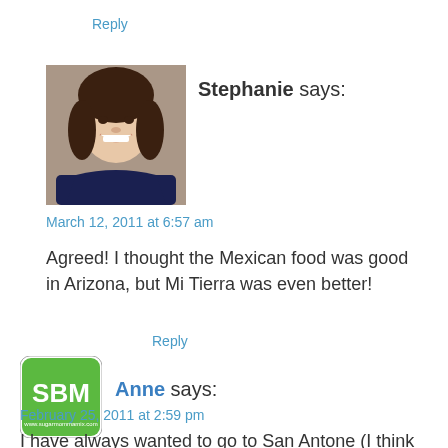Reply
[Figure (photo): Profile photo of Stephanie, a woman with dark curly hair, smiling]
Stephanie says:
March 12, 2011 at 6:57 am
Agreed! I thought the Mexican food was good in Arizona, but Mi Tierra was even better!
Reply
[Figure (logo): SBM logo - green rounded square with SBM text and www.sugarmommamix.com]
Anne says:
February 25, 2011 at 2:59 pm
I have always wanted to go to San Antone (I think